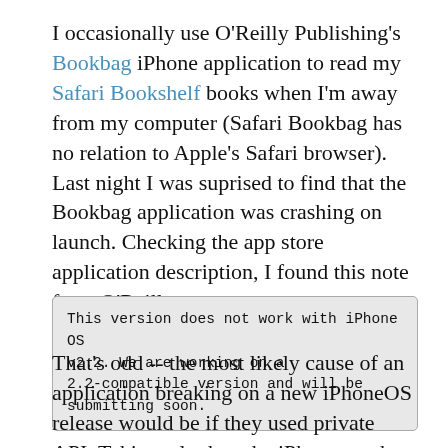I occasionally use O'Reilly Publishing's Bookbag iPhone application to read my Safari Bookshelf books when I'm away from my computer (Safari Bookbag has no relation to Apple's Safari browser). Last night I was suprised to find that the Bookbag application was crashing on launch. Checking the app store application description, I found this note from O'Reilly:
This version does not work with iPhone OS v2.2. We are working on a 2.2-compatible version and will be submitting soon.
That's odd -- the most likely cause of an application breaking on a new iPhoneOS release would be if they used private API. Taking a look at the iPhone crash log, that appears to be the case: